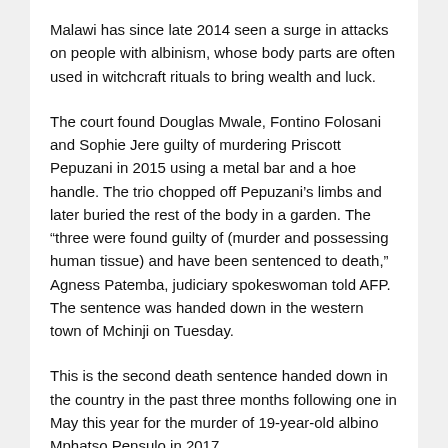Malawi has since late 2014 seen a surge in attacks on people with albinism, whose body parts are often used in witchcraft rituals to bring wealth and luck.
The court found Douglas Mwale, Fontino Folosani and Sophie Jere guilty of murdering Priscott Pepuzani in 2015 using a metal bar and a hoe handle. The trio chopped off Pepuzani’s limbs and later buried the rest of the body in a garden. The “three were found guilty of (murder and possessing human tissue) and have been sentenced to death,” Agness Patemba, judiciary spokeswoman told AFP. The sentence was handed down in the western town of Mchinji on Tuesday.
This is the second death sentence handed down in the country in the past three months following one in May this year for the murder of 19-year-old albino Mphatso Pensulo in 2017.
Malawi has not carried out any executions since 1994,